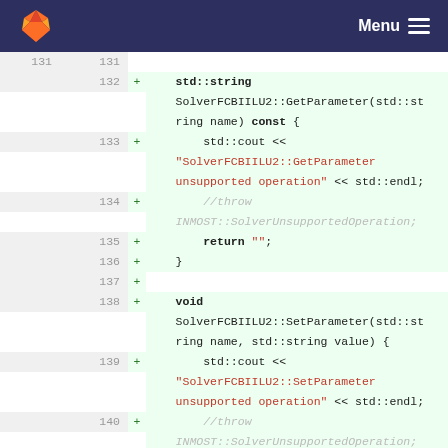GitLab — Menu
Code diff view showing lines 131–140 of a C++ source file. Lines show additions (+) to SolverFCBIILU2::GetParameter and SolverFCBIILU2::SetParameter methods, including std::cout output of error messages and commented-out throw statements.